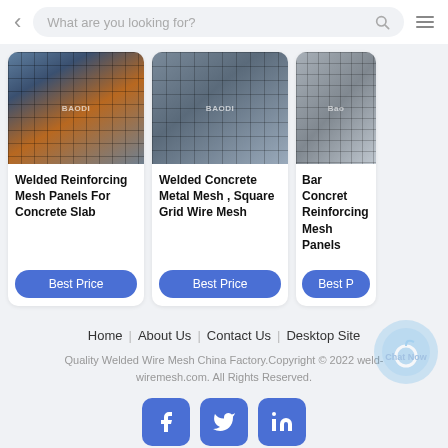What are you looking for?
[Figure (photo): Welded Reinforcing Mesh Panels For Concrete Slab product image showing metal mesh grid from above with orange lights]
Welded Reinforcing Mesh Panels For Concrete Slab
Best Price
[Figure (photo): Welded Concrete Metal Mesh Square Grid Wire Mesh product image showing stacked metal mesh panels]
Welded Concrete Metal Mesh , Square Grid Wire Mesh
Best Price
[Figure (photo): Bar Concrete Reinforcing Mesh Panels product image showing close-up of metal mesh]
Bar Concrete Reinforcing Mesh Panels
Best Price
Home | About Us | Contact Us | Desktop Site
Quality Welded Wire Mesh China Factory.Copyright © 2022 weld-wiremesh.com. All Rights Reserved.